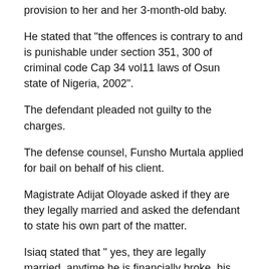provision to her and her 3-month-old baby.
He stated that "the offences is contrary to and is punishable under section 351, 300 of criminal code Cap 34 vol11 laws of Osun state of Nigeria, 2002".
The defendant pleaded not guilty to the charges.
The defense counsel, Funsho Murtala applied for bail on behalf of his client.
Magistrate Adijat Oloyade asked if they are they legally married and asked the defendant to state his own part of the matter.
Isiaq stated that " yes, they are legally married, anytime he is financially broke, his mother-in-law usually react in a bad manner to him and that he  is not maltreating Barakat, the last day he gave her the sum of N2,000 was on the 13th of October, 2019".